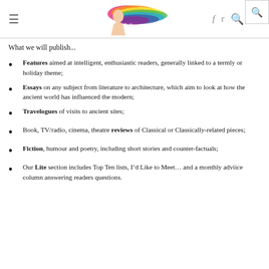iris magazine header with logo, menu, social icons, and search
What we will publish...
Features aimed at intelligent, enthusiastic readers, generally linked to a termly or holiday theme;
Essays on any subject from literature to architecture, which aim to look at how the ancient world has influenced the modern;
Travelogues of visits to ancient sites;
Book, TV/radio, cinema, theatre reviews of Classical or Classically-related pieces;
Fiction, humour and poetry, including short stories and counter-factuals;
Our Lite section includes Top Ten lists, I’d Like to Meet… and a monthly adviice column answering readers questions.